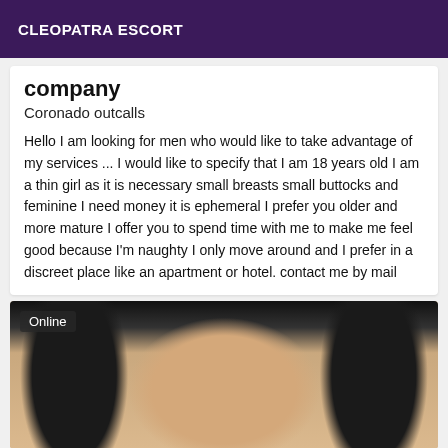CLEOPATRA ESCORT
company
Coronado outcalls
Hello I am looking for men who would like to take advantage of my services ... I would like to specify that I am 18 years old I am a thin girl as it is necessary small breasts small buttocks and feminine I need money it is ephemeral I prefer you older and more mature I offer you to spend time with me to make me feel good because I'm naughty I only move around and I prefer in a discreet place like an apartment or hotel. contact me by mail
[Figure (photo): Photo of a young woman with dark hair wearing a necklace, with Online badge in top left corner]